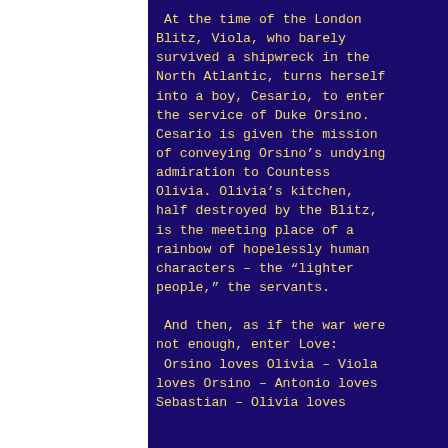At the time of the London Blitz, Viola, who barely survived a shipwreck in the North Atlantic, turns herself into a boy, Cesario, to enter the service of Duke Orsino. Cesario is given the mission of conveying Orsino’s undying admiration to Countess Olivia. Olivia’s kitchen, half destroyed by the Blitz, is the meeting place of a rainbow of hopelessly human characters – the “lighter people,” the servants.

And then, as if the war were not enough, enter Love: Orsino loves Olivia – Viola loves Orsino – Antonio loves Sebastian – Olivia loves